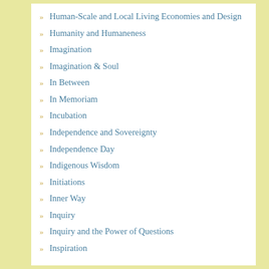Human-Scale and Local Living Economies and Design
Humanity and Humaneness
Imagination
Imagination & Soul
In Between
In Memoriam
Incubation
Independence and Sovereignty
Independence Day
Indigenous Wisdom
Initiations
Inner Way
Inquiry
Inquiry and the Power of Questions
Inspiration